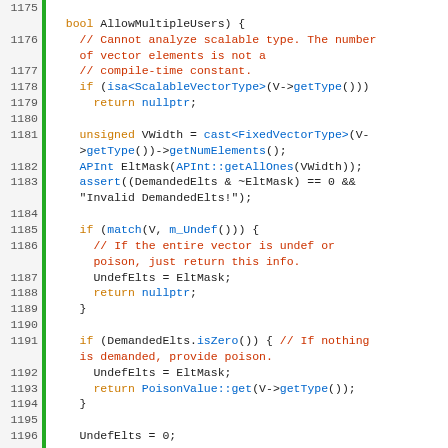[Figure (screenshot): Source code listing showing C++ function body with line numbers 1175-1202, syntax highlighted in orange (keywords/returns), blue (types/methods), red (comments), and black (identifiers/operators) on white background with green line indicator bar.]